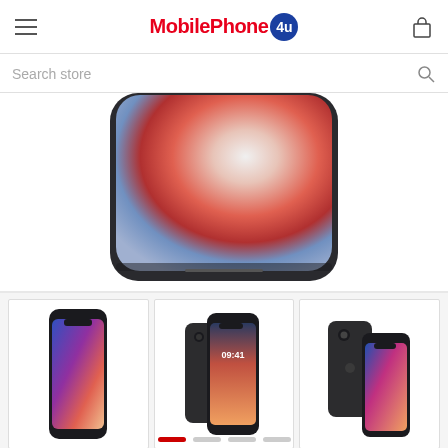MobilePhone 4u
Search store
[Figure (photo): Close-up bottom portion of iPhone X showing edge-to-edge OLED display with colorful gradient wallpaper (orange, red, white, blue tones), rounded corners, and silver/space grey frame against white background]
[Figure (photo): iPhone X front view showing colorful wallpaper with blue and pink gradient tones, notch visible at top]
[Figure (photo): iPhone X front and back view, space grey, showing lock screen at 09:41 and the camera bump on the rear]
[Figure (photo): Two iPhone X devices (space grey) shown from back and front angles, pink/blue wallpaper on front device]